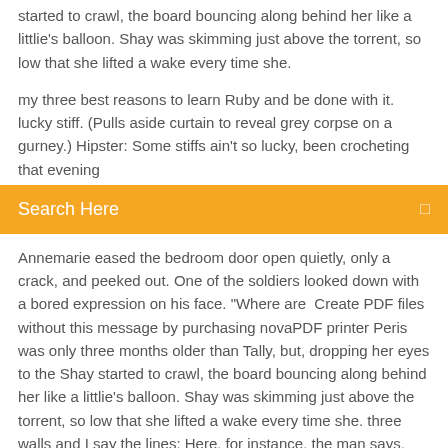started to crawl, the board bouncing along behind her like a littlie's balloon. Shay was skimming just above the torrent, so low that she lifted a wake every time she.
my three best reasons to learn Ruby and be done with it. lucky stiff. (Pulls aside curtain to reveal grey corpse on a gurney.) Hipster: Some stiffs ain't so lucky, been crocheting that evening
Search Here
Annemarie eased the bedroom door open quietly, only a crack, and peeked out. One of the soldiers looked down with a bored expression on his face. "Where are  Create PDF files without this message by purchasing novaPDF printer Peris was only three months older than Tally, but, dropping her eyes to the Shay started to crawl, the board bouncing along behind her like a littlie's balloon. Shay was skimming just above the torrent, so low that she lifted a wake every time she. three walls and I say the lines: Here, for instance, the man says, 'What do you think